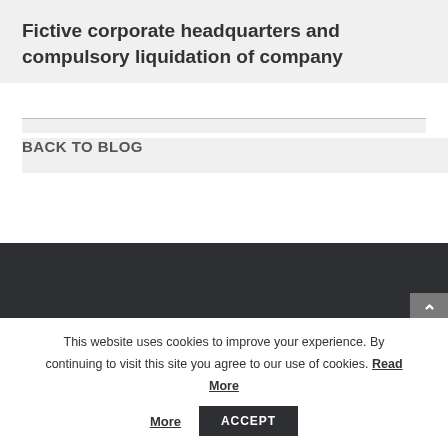Fictive corporate headquarters and compulsory liquidation of company
BACK TO BLOG
[Figure (other): Dark banner/footer section of a website, dark charcoal background with a scroll-to-top button on the right side]
This website uses cookies to improve your experience. By continuing to visit this site you agree to our use of cookies. Read More ACCEPT